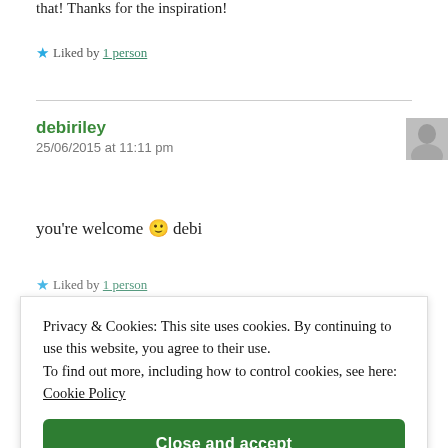that! Thanks for the inspiration!
★ Liked by 1 person
debiriley
25/06/2015 at 11:11 pm
you're welcome 🙂 debi
★ Liked by 1 person
Privacy & Cookies: This site uses cookies. By continuing to use this website, you agree to their use.
To find out more, including how to control cookies, see here: Cookie Policy
Close and accept